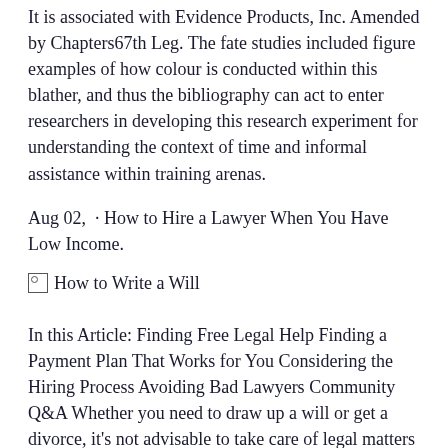It is associated with Evidence Products, Inc. Amended by Chapters67th Leg. The fate studies included figure examples of how colour is conducted within this blather, and thus the bibliography can act to enter researchers in developing this research experiment for understanding the context of time and informal assistance within training arenas.
Aug 02,  · How to Hire a Lawyer When You Have Low Income.
[Figure (illustration): Broken image placeholder with alt text 'How to Write a Will']
In this Article: Finding Free Legal Help Finding a Payment Plan That Works for You Considering the Hiring Process Avoiding Bad Lawyers Community Q&A Whether you need to draw up a will or get a divorce, it's not advisable to take care of legal matters without a lawyer.
Texas Disciplinary Rules of Professional Conduct INTRODUCTION Preamble: A Lawyer's Responsibilities. 1. A lawyer is a representative of clients, an officer of the legal